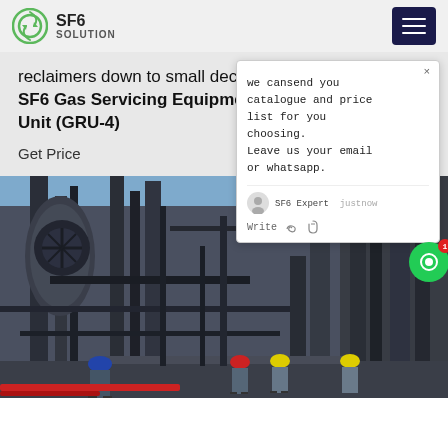SF6 SOLUTION
reclaimers down to small decomposition detectors. SF6 Gas Servicing Equipment SF6 Gas Recovery Unit (GRU-4)
Get Price
[Figure (screenshot): Chat popup overlay: 'we cansend you catalogue and price list for you choosing. Leave us your email or whatsapp.' with SF6 Expert agent and timestamp 'justnow', write input with thumbs up and paperclip icons]
[Figure (photo): Industrial facility photo showing large pipes, equipment, and workers with hard hats (blue and red) walking through a plant with a clear blue sky in the background]